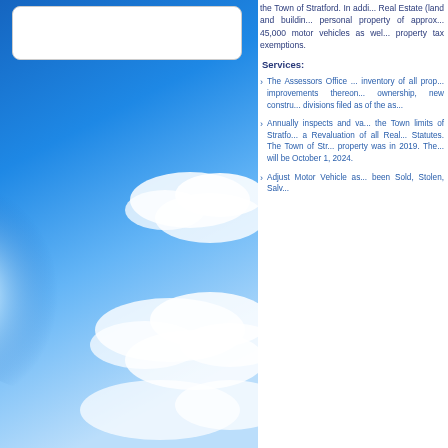[Figure (photo): Blue sky with white clouds, left column background image with a white rounded rectangle box at top]
the Town of Stratford. In addi... Real Estate (land and buildin... personal property of approx... 45,000 motor vehicles as wel... property tax exemptions.
Services:
The Assessors Office ... inventory of all prop... improvements thereon... ownership, new constru... divisions filed as of the as...
Annually inspects and va... the Town limits of Stratfo... a Revaluation of all Real... Statutes. The Town of Str... property was in 2019. The... will be October 1, 2024.
Adjust Motor Vehicle as... been Sold, Stolen, Salv...